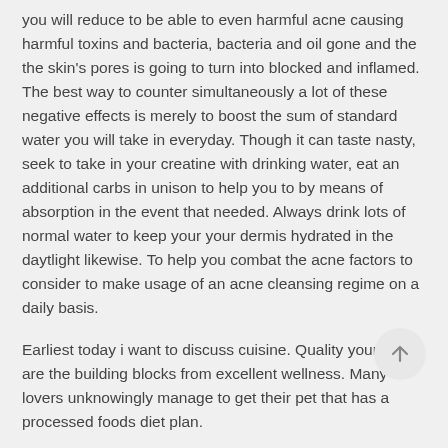you will reduce to be able to even harmful acne causing harmful toxins and bacteria, bacteria and oil gone and the the skin's pores is going to turn into blocked and inflamed. The best way to counter simultaneously a lot of these negative effects is merely to boost the sum of standard water you will take in everyday. Though it can taste nasty, seek to take in your creatine with drinking water, eat an additional carbs in unison to help you to by means of absorption in the event that needed. Always drink lots of normal water to keep your your dermis hydrated in the daytlight likewise. To help you combat the acne factors to consider to make usage of an acne cleansing regime on a daily basis.
Earliest today i want to discuss cuisine. Quality your diet are the building blocks from excellent wellness. Many lovers unknowingly manage to get their pet that has a processed foods diet plan.